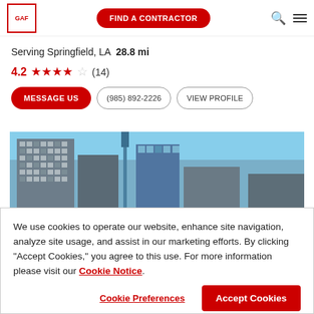GAF | FIND A CONTRACTOR
Serving Springfield, LA 28.8 mi
4.2 ★★★★☆ (14)
MESSAGE US | (985) 892-2226 | VIEW PROFILE
[Figure (photo): City skyline photo with tall buildings against a blue sky]
We use cookies to operate our website, enhance site navigation, analyze site usage, and assist in our marketing efforts. By clicking "Accept Cookies," you agree to this use. For more information please visit our Cookie Notice.
Cookie Preferences | Accept Cookies